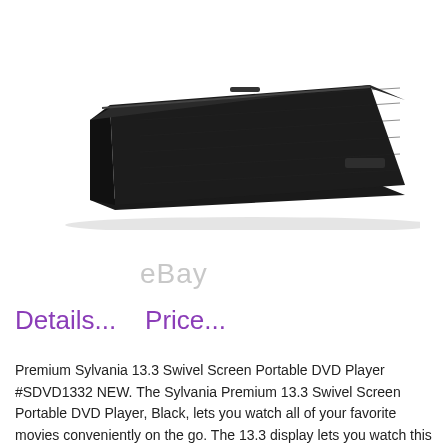[Figure (photo): A black portable DVD player shown closed from an angled top-down view, displaying a flat rectangular form factor with textured surface.]
eBay
Details...    Price...
Premium Sylvania 13.3 Swivel Screen Portable DVD Player #SDVD1332 NEW. The Sylvania Premium 13.3 Swivel Screen Portable DVD Player, Black, lets you watch all of your favorite movies conveniently on the go. The 13.3 display lets you watch this content with